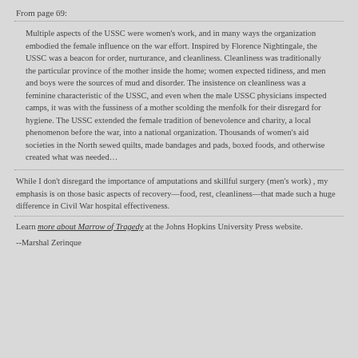From page 69:
Multiple aspects of the USSC were women's work, and in many ways the organization embodied the female influence on the war effort. Inspired by Florence Nightingale, the USSC was a beacon for order, nurturance, and cleanliness. Cleanliness was traditionally the particular province of the mother inside the home; women expected tidiness, and men and boys were the sources of mud and disorder. The insistence on cleanliness was a feminine characteristic of the USSC, and even when the male USSC physicians inspected camps, it was with the fussiness of a mother scolding the menfolk for their disregard for hygiene. The USSC extended the female tradition of benevolence and charity, a local phenomenon before the war, into a national organization. Thousands of women's aid societies in the North sewed quilts, made bandages and pads, boxed foods, and otherwise created what was needed…
While I don't disregard the importance of amputations and skillful surgery (men's work) , my emphasis is on those basic aspects of recovery—food, rest, cleanliness—that made such a huge difference in Civil War hospital effectiveness.
Learn more about Marrow of Tragedy at the Johns Hopkins University Press website.
--Marshal Zerinque